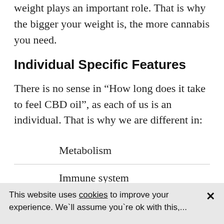weight plays an important role. That is why the bigger your weight is, the more cannabis you need.
Individual Specific Features
There is no sense in “How long does it take to feel CBD oil”, as each of us is an individual. That is why we are different in:
Metabolism
Immune system
Allergy and body reaction to external fa
This website uses cookies to improve your experience. We`ll assume you`re ok with this,...